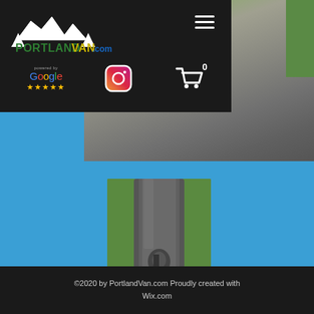PortlandVan.com navigation header with logo, hamburger menu, Google reviews badge, Instagram icon, and shopping cart
[Figure (photo): Blurred close-up photo of a dark metal van part/fixture against a blurred natural background with green foliage, top portion]
[Figure (photo): Blurred close-up photo of a dark metal van part/fixture against green grass background, lower portion showing a hook or latch detail]
©2020 by PortlandVan.com Proudly created with Wix.com